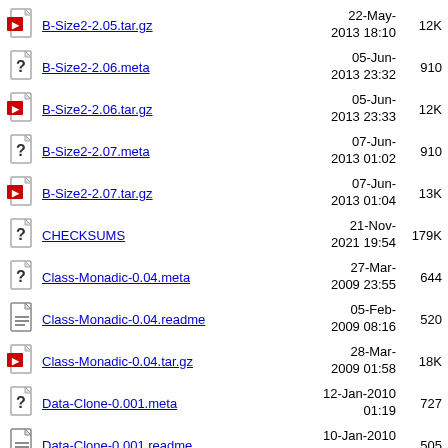B-Size2-2.05.tar.gz  22-May-2013 18:10  12K
B-Size2-2.06.meta  05-Jun-2013 23:32  910
B-Size2-2.06.tar.gz  05-Jun-2013 23:33  12K
B-Size2-2.07.meta  07-Jun-2013 01:02  910
B-Size2-2.07.tar.gz  07-Jun-2013 01:04  13K
CHECKSUMS  21-Nov-2021 19:54  179K
Class-Monadic-0.04.meta  27-Mar-2009 23:55  644
Class-Monadic-0.04.readme  05-Feb-2009 08:16  520
Class-Monadic-0.04.tar.gz  28-Mar-2009 01:58  18K
Data-Clone-0.001.meta  12-Jan-2010 01:19  727
Data-Clone-0.001.readme  10-Jan-2010 20:15  505